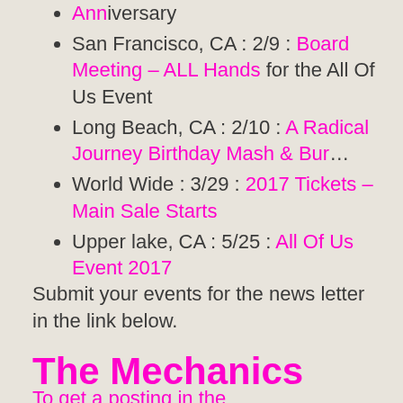Anniversary
San Francisco, CA : 2/9 : Board Meeting – ALL Hands for the All Of Us Event
Long Beach, CA : 2/10 : A Radical Journey Birthday Mash & Bur…
World Wide : 3/29 : 2017 Tickets – Main Sale Starts
Upper lake, CA : 5/25 : All Of Us Event 2017
Submit your events for the news letter in the link below.
The Mechanics
To get a posting in the